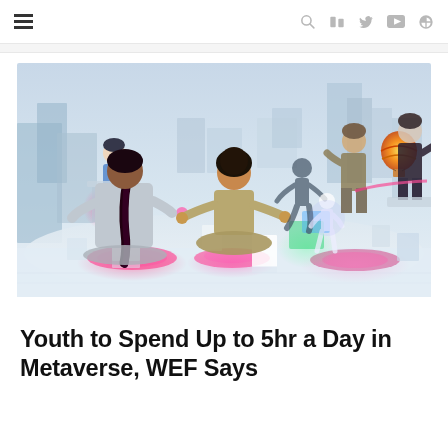≡  🔍  in  🐦  ▶  ⊕
[Figure (illustration): 3D rendered metaverse scene showing avatar characters in a futuristic virtual environment with glowing platforms, digital architecture, and animated figures interacting in a bright, tech-styled space.]
Youth to Spend Up to 5hr a Day in Metaverse, WEF Says